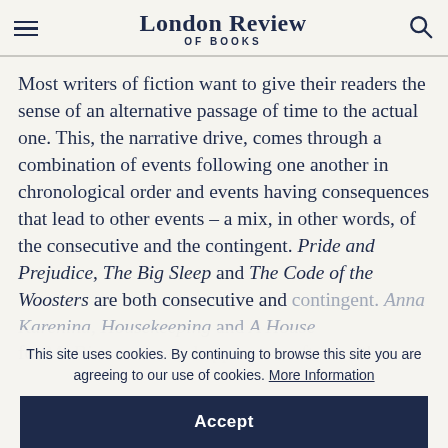London Review of Books
Most writers of fiction want to give their readers the sense of an alternative passage of time to the actual one. This, the narrative drive, comes through a combination of events following one another in chronological order and events having consequences that lead to other events – a mix, in other words, of the consecutive and the contingent. Pride and Prejudice, The Big Sleep and The Code of the Woosters are both consecutive and contingent. Anna Karenina, Housekeeping and A House for Mr Biswas mostly happen, one after another.
This site uses cookies. By continuing to browse this site you are agreeing to our use of cookies. More Information
Accept